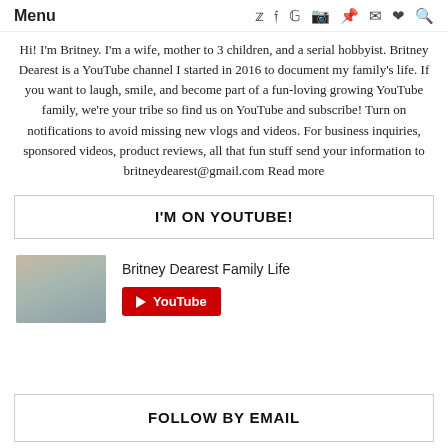Menu
Hi! I'm Britney. I'm a wife, mother to 3 children, and a serial hobbyist. Britney Dearest is a YouTube channel I started in 2016 to document my family’s life. If you want to laugh, smile, and become part of a fun-loving growing YouTube family, we're your tribe so find us on YouTube and subscribe! Turn on notifications to avoid missing new vlogs and videos. For business inquiries, sponsored videos, product reviews, all that fun stuff send your information to britneydearest@gmail.com Read more
I'M ON YOUTUBE!
[Figure (photo): Family photo thumbnail for Britney Dearest Family Life YouTube channel]
Britney Dearest Family Life
FOLLOW BY EMAIL